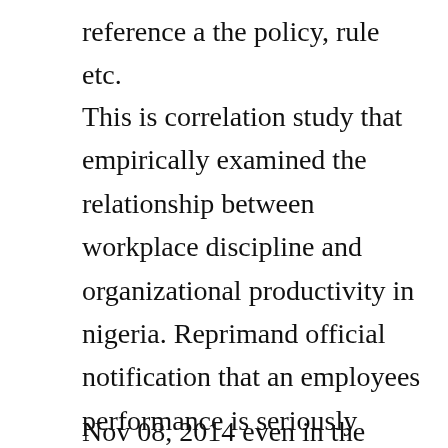reference a the policy, rule etc.
This is correlation study that empirically examined the relationship between workplace discipline and organizational productivity in nigeria. Reprimand official notification that an employees performance is seriously below. Every business must have workplace rules governing their employees conduct and no matter how professional the workplace. Workplace terms and conditions should state the rules of employment.
Nov 08, 2014 even in the absence of a